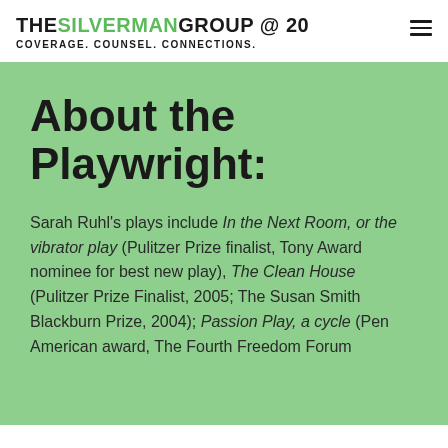THE SILVERMAN GROUP @ 20 COVERAGE. COUNSEL. CONNECTIONS.
About the Playwright:
Sarah Ruhl's plays include In the Next Room, or the vibrator play (Pulitzer Prize finalist, Tony Award nominee for best new play), The Clean House (Pulitzer Prize Finalist, 2005; The Susan Smith Blackburn Prize, 2004); Passion Play, a cycle (Pen American award, The Fourth Freedom Forum